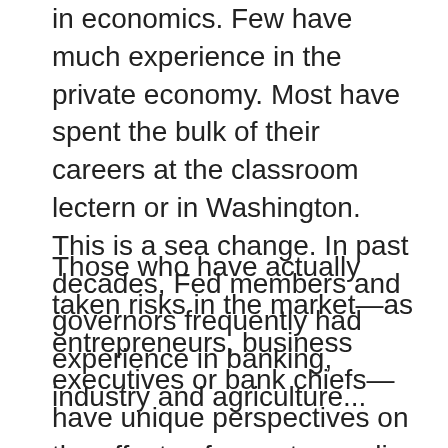in economics. Few have much experience in the private economy. Most have spent the bulk of their careers at the classroom lectern or in Washington. This is a sea change. In past decades, Fed members and governors frequently had experience in banking, industry and agriculture...
Those who have actually taken risks in the market—as entrepreneurs, business executives or bank chiefs—have unique perspectives on the effects of monetary policy that economists necessarily lack. These individuals can tell you how a particular policy might affect their decisions, as well as the decisions of